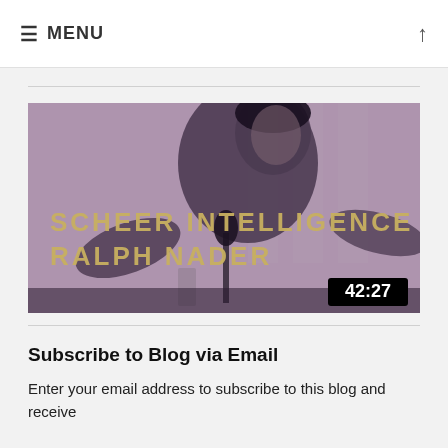≡ MENU ↑
[Figure (screenshot): Video thumbnail showing a black-and-white photo with purple tint of a young man speaking at a microphone. Text overlay reads 'SCHEER INTELLIGENCE W/ RALPH NADER'. A duration badge in the bottom-right corner shows '42:27'.]
Subscribe to Blog via Email
Enter your email address to subscribe to this blog and receive